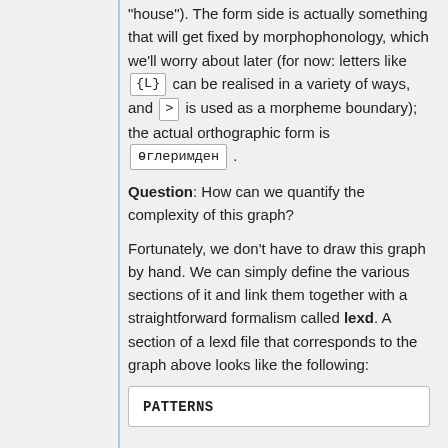"house"). The form side is actually something that will get fixed by morphophonology, which we'll worry about later (for now: letters like {L} can be realised in a variety of ways, and > is used as a morpheme boundary); the actual orthographic form is өглеримден .
Question: How can we quantify the complexity of this graph?
Fortunately, we don't have to draw this graph by hand. We can simply define the various sections of it and link them together with a straightforward formalism called lexd. A section of a lexd file that corresponds to the graph above looks like the following:
| PATTERNS |
| --- |